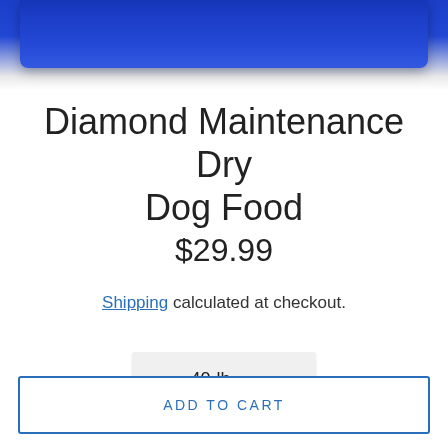[Figure (photo): Top portion of a blue diamond dry dog food bag against white background]
Diamond Maintenance Dry Dog Food
$29.99
Shipping calculated at checkout.
40-lb ▾
ADD TO CART